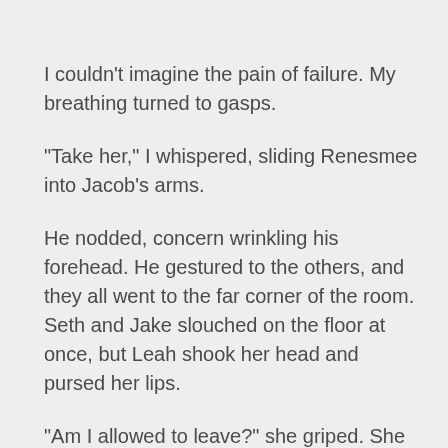I couldn't imagine the pain of failure. My breathing turned to gasps.
"Take her," I whispered, sliding Renesmee into Jacob's arms.
He nodded, concern wrinkling his forehead. He gestured to the others, and they all went to the far corner of the room. Seth and Jake slouched on the floor at once, but Leah shook her head and pursed her lips.
"Am I allowed to leave?" she griped. She looked uncomfortable in her human body, wearing the same dirty t-shirt and cotton shorts she'd worn to